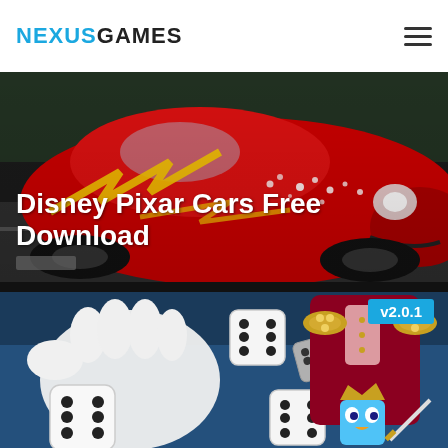NEXUSGAMES
Disney Pixar Cars Free Download
[Figure (screenshot): Hero image showing Lightning McQueen from Disney Pixar Cars — a red race car with yellow flame details on a dark road background]
[Figure (screenshot): Animated game screenshot showing cartoon characters rolling dice, including a figure in a red military uniform and a small blue character with a sword, with version badge v2.0.1]